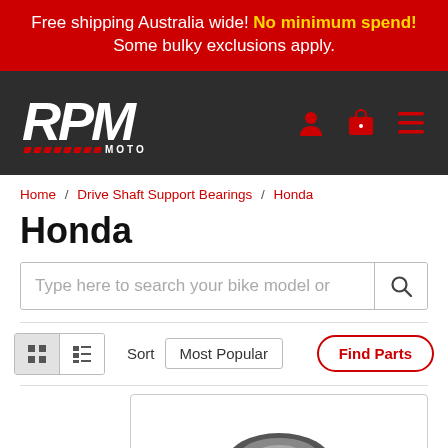Free shipping Australia wide! No minimum spend! Some bulky exclusions apply.
[Figure (logo): RPM Moto logo in white italic text on dark background with red dashes and 'MOTO' text]
Home / Drive Shaft Support Bearings / Honda
Honda
Type here to search your bike model or
Sort   Most Popular   Find Parts
[Figure (photo): Partial product image showing top of a circular bearing component]